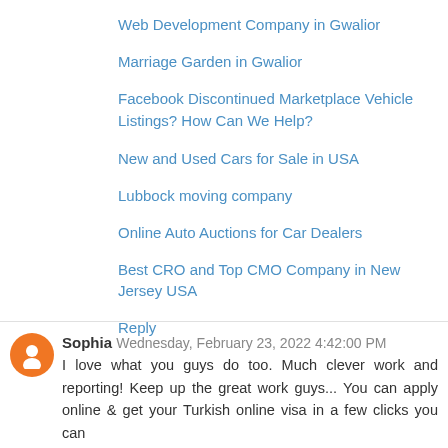Web Development Company in Gwalior
Marriage Garden in Gwalior
Facebook Discontinued Marketplace Vehicle Listings? How Can We Help?
New and Used Cars for Sale in USA
Lubbock moving company
Online Auto Auctions for Car Dealers
Best CRO and Top CMO Company in New Jersey USA
Reply
Sophia Wednesday, February 23, 2022 4:42:00 PM
I love what you guys do too. Much clever work and reporting! Keep up the great work guys... You can apply online & get your Turkish online visa in a few clicks you can